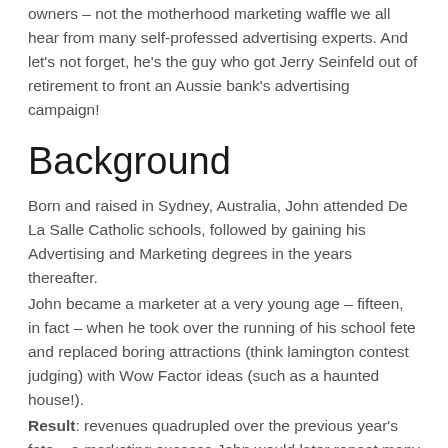owners – not the motherhood marketing waffle we all hear from many self-professed advertising experts. And let's not forget, he's the guy who got Jerry Seinfeld out of retirement to front an Aussie bank's advertising campaign!
Background
Born and raised in Sydney, Australia, John attended De La Salle Catholic schools, followed by gaining his Advertising and Marketing degrees in the years thereafter.
John became a marketer at a very young age – fifteen, in fact – when he took over the running of his school fete and replaced boring attractions (think lamington contest judging) with Wow Factor ideas (such as a haunted house!).
Result: revenues quadrupled over the previous year's fete – a marketing success John would later repeat many times for many different clients across